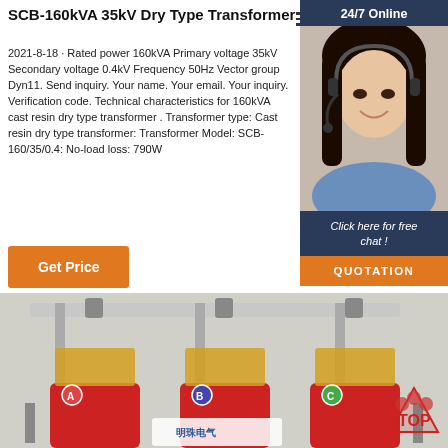SCB-160kVA 35kV Dry Type Transformer
2021-8-18 · Rated power 160kVA Primary voltage 35kV Secondary voltage 0.4kV Frequency 50Hz Vector group Dyn11. Send inquiry. Your name. Your email. Your inquiry. Verification code. Technical characteristics for 160kVA cast resin dry type transformer . Transformer type: Cast resin dry type transformer: Transformer Model: SCB-160/35/0.4: No-load loss: 790W
Get Price
[Figure (photo): Customer service representative with headset, shown in a dark blue chat widget panel labeled 24/7 Online with a QUOTATION button]
[Figure (logo): Pearl Electric company logo — blue globe icon with 'pearl ELECTRIC' text]
[Figure (photo): SCB-160kVA 35kV dry type cast resin transformer with three red coil columns and Pearl Electric branding, photographed from front]